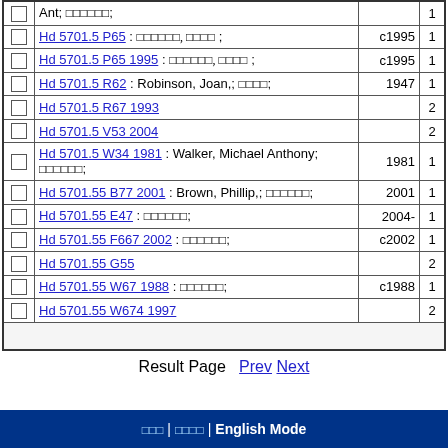|  | Title/Author | Year | # |
| --- | --- | --- | --- |
| ☐ | Ant; □□□□□□; |  | 1 |
| ☐ | Hd 5701.5 P65 : □□□□□□, □□□□ ; | c1995 | 1 |
| ☐ | Hd 5701.5 P65 1995 : □□□□□□, □□□□ ; | c1995 | 1 |
| ☐ | Hd 5701.5 R62 : Robinson, Joan,; □□□□; | 1947 | 1 |
| ☐ | Hd 5701.5 R67 1993 |  | 2 |
| ☐ | Hd 5701.5 V53 2004 |  | 2 |
| ☐ | Hd 5701.5 W34 1981 : Walker, Michael Anthony; □□□□□□; | 1981 | 1 |
| ☐ | Hd 5701.55 B77 2001 : Brown, Phillip,; □□□□□□; | 2001 | 1 |
| ☐ | Hd 5701.55 E47 : □□□□□□; | 2004- | 1 |
| ☐ | Hd 5701.55 F667 2002 : □□□□□□; | c2002 | 1 |
| ☐ | Hd 5701.55 G55 |  | 2 |
| ☐ | Hd 5701.55 W67 1988 : □□□□□□; | c1988 | 1 |
| ☐ | Hd 5701.55 W674 1997 |  | 2 |
Result Page  Prev  Next
□□□ | □□□□ | English Mode